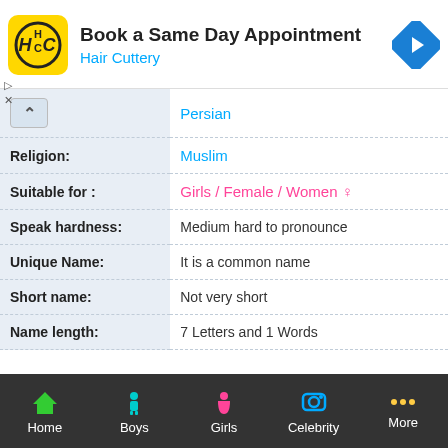[Figure (screenshot): Ad banner for Hair Cuttery: Book a Same Day Appointment]
|  | Persian |
| Religion: | Muslim |
| Suitable for : | Girls / Female / Women ♀ |
| Speak hardness: | Medium hard to pronounce |
| Unique Name: | It is a common name |
| Short name: | Not very short |
| Name length: | 7 Letters and 1 Words |
[Figure (screenshot): Mobile app bottom navigation bar with Home, Boys, Girls, Celebrity, More]